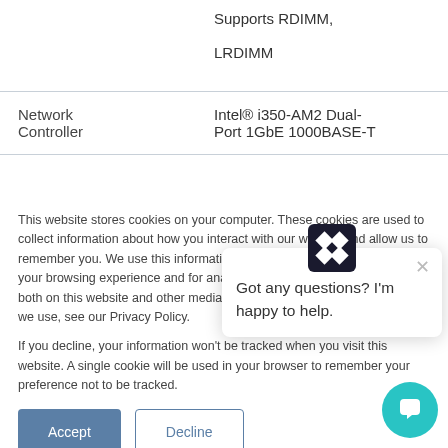| Feature | Value |
| --- | --- |
|  | Supports RDIMM, LRDIMM |
| Network Controller | Intel® i350-AM2 Dual-Port 1GbE 1000BASE-T |
This website stores cookies on your computer. These cookies are used to collect information about how you interact with our website and allow us to remember you. We use this information in order to improve and customize your browsing experience and for analytics and metrics about our visitors both on this website and other media. To find out more about the cookies we use, see our Privacy Policy.
If you decline, your information won't be tracked when you visit this website. A single cookie will be used in your browser to remember your preference not to be tracked.
Got any questions? I'm happy to help.